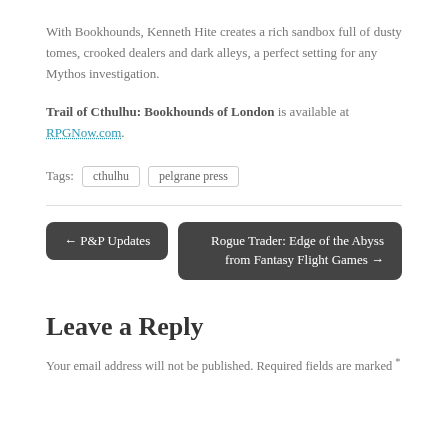With Bookhounds, Kenneth Hite creates a rich sandbox full of dusty tomes, crooked dealers and dark alleys, a perfect setting for any Mythos investigation.
Trail of Cthulhu: Bookhounds of London is available at RPGNow.com.
Tags:  cthulhu  pelgrane press
← P&P Updates
Rogue Trader: Edge of the Abyss from Fantasy Flight Games →
Leave a Reply
Your email address will not be published. Required fields are marked *